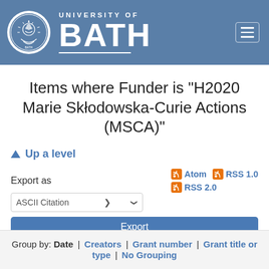University of Bath
Items where Funder is "H2020 Marie Skłodowska-Curie Actions (MSCA)"
↑ Up a level
Export as | Atom | RSS 1.0 | RSS 2.0
ASCII Citation [dropdown] Export button
Group by: Date | Creators | Grant number | Grant title or type | No Grouping